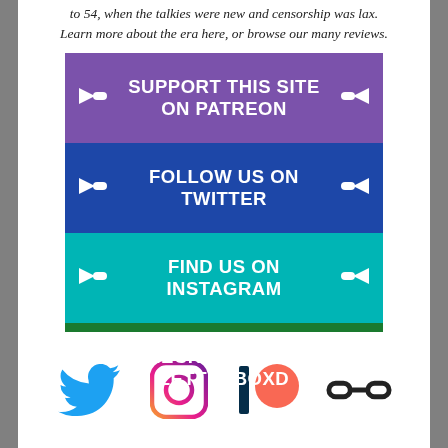to 54, when the talkies were new and censorship was lax. Learn more about the era here, or browse our many reviews.
[Figure (infographic): Social media banner with four colored rows: purple (SUPPORT THIS SITE ON PATREON), blue (FOLLOW US ON TWITTER), teal (FIND US ON INSTAGRAM), green (CHECK US OUT ON LETTERBOXD). Each row has white arrow/diamond icons on left and right.]
[Figure (infographic): Row of four social media icons: blue Twitter bird, gradient Instagram camera, red/dark Patreon logo, and black chain link icon.]